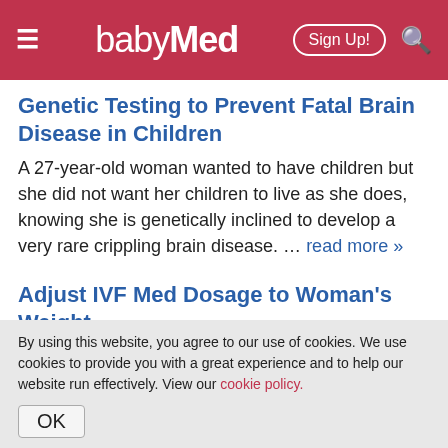babyMed — Sign Up!
Genetic Testing to Prevent Fatal Brain Disease in Children
A 27-year-old woman wanted to have children but she did not want her children to live as she does, knowing she is genetically inclined to develop a very rare crippling brain disease. … read more »
Adjust IVF Med Dosage to Woman's Weight
A recent study suggests that customization of the
By using this website, you agree to our use of cookies. We use cookies to provide you with a great experience and to help our website run effectively. View our cookie policy.